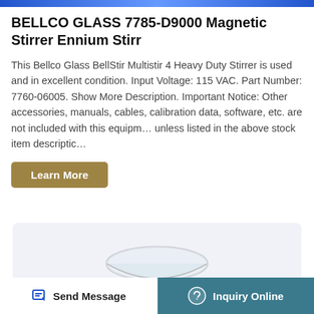BELLCO GLASS 7785-D9000 Magnetic Stirrer Ennium Stirr
This Bellco Glass BellStir Multistir 4 Heavy Duty Stirrer is used and in excellent condition. Input Voltage: 115 VAC. Part Number: 7760-06005. Show More Description. Important Notice: Other accessories, manuals, cables, calibration data, software, etc. are not included with this equipment unless listed in the above stock item description
Learn More
[Figure (photo): Glass bowl/dish product image on light blue background]
Send Message
Inquiry Online